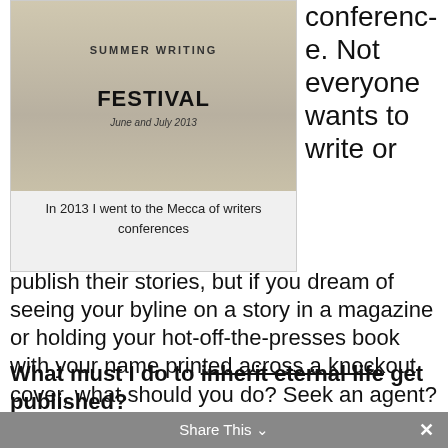[Figure (photo): A photo of a Summer Writing Festival banner/sign with text 'FESTIVAL' and 'June and July 2013']
In 2013 I went to the Mecca of writers conferences
conference. Not everyone wants to write or publish their stories, but if you dream of seeing your byline on a story in a magazine or holding your hot-off-the-presses book with your name printed across a knockout cover, what should you do? Seek an agent? Self-publish or query a publisher?
What must I do to inherit eternal life get published?
As I pondered this question, which I get